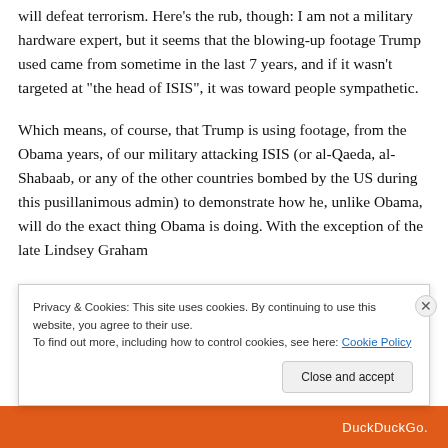will defeat terrorism. Here's the rub, though: I am not a military hardware expert, but it seems that the blowing-up footage Trump used came from sometime in the last 7 years, and if it wasn't targeted at "the head of ISIS", it was toward people sympathetic.
Which means, of course, that Trump is using footage, from the Obama years, of our military attacking ISIS (or al-Qaeda, al-Shabaab, or any of the other countries bombed by the US during this pusillanimous admin) to demonstrate how he, unlike Obama, will do the exact thing Obama is doing. With the exception of the late Lindsey Graham
Privacy & Cookies: This site uses cookies. By continuing to use this website, you agree to their use.
To find out more, including how to control cookies, see here: Cookie Policy